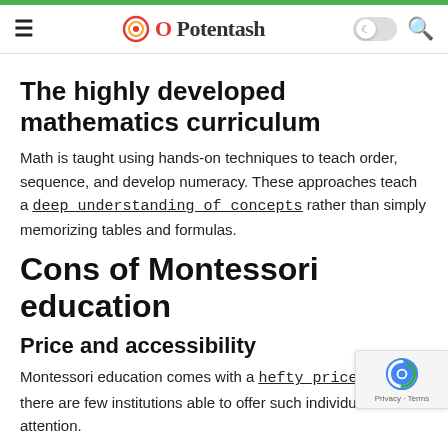Potentash
The highly developed mathematics curriculum
Math is taught using hands-on techniques to teach order, sequence, and develop numeracy. These approaches teach a deep understanding of concepts rather than simply memorizing tables and formulas.
Cons of Montessori education
Price and accessibility
Montessori education comes with a hefty price tag; there are few institutions able to offer such individualized attention.